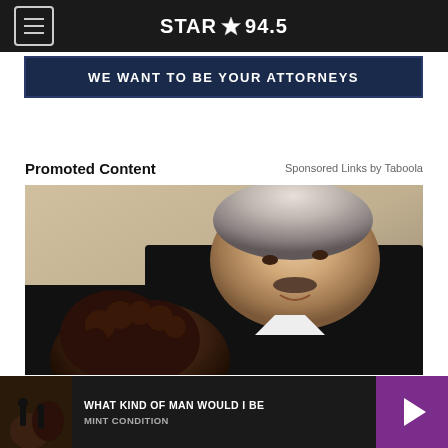STAR 94.5
[Figure (screenshot): Advertisement banner: WE WANT TO BE YOUR ATTORNEYS on dark navy background]
Promoted Content
Sponsored Links by Taboola
[Figure (photo): Photo of two people, a woman with curly hair leaning her head against a man in a black suit with grey hair and a mustache]
WHAT KIND OF MAN WOULD I BE
MINT CONDITION